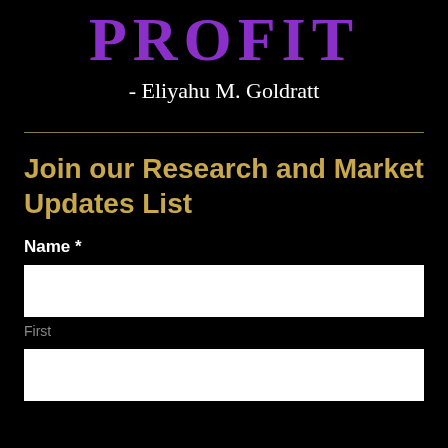PROFIT
- Eliyahu M. Goldratt
Join our Research and Market Updates List
Name *
First